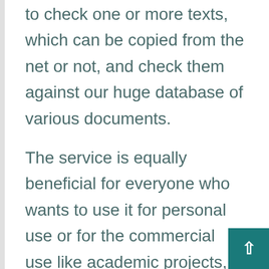to check one or more texts, which can be copied from the net or not, and check them against our huge database of various documents.
The service is equally beneficial for everyone who wants to use it for personal use or for the commercial use like academic projects, research articles, blogs, and many other writing platforms. You can submit any kind of article immediately for instant, accurate results. It is a safe and secure system with the latest plagiarism detection software that checks the